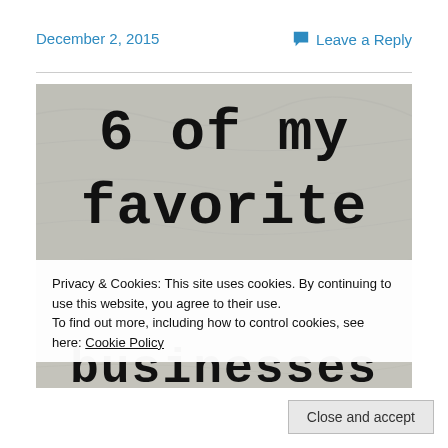December 2, 2015
Leave a Reply
[Figure (photo): Crumpled paper background with large bold serif/monospace text reading '6 of my favorite businesses' — partially visible, showing '6 of my' and 'favorite' clearly, 'businesses' in lower strip]
Privacy & Cookies: This site uses cookies. By continuing to use this website, you agree to their use.
To find out more, including how to control cookies, see here: Cookie Policy
Close and accept